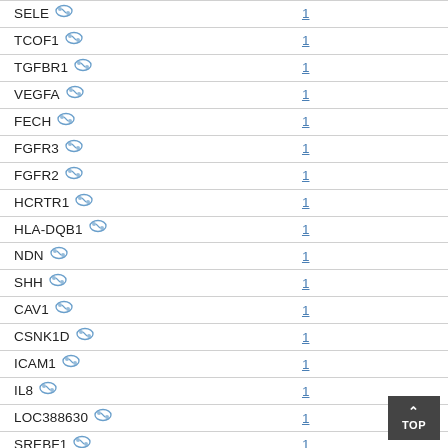| Gene | Count |
| --- | --- |
| SELE | 1 |
| TCOF1 | 1 |
| TGFBR1 | 1 |
| VEGFA | 1 |
| FECH | 1 |
| FGFR3 | 1 |
| FGFR2 | 1 |
| HCRTR1 | 1 |
| HLA-DQB1 | 1 |
| NDN | 1 |
| SHH | 1 |
| CAV1 | 1 |
| CSNK1D | 1 |
| ICAM1 | 1 |
| IL8 | 1 |
| LOC388630 | 1 |
| SREBF1 | 1 |